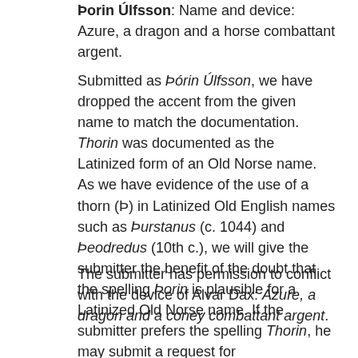Þorin Úlfsson. Name and device: Azure, a dragon and a horse combattant argent.
Submitted as Þórin Úlfsson, we have dropped the accent from the given name to match the documentation. Thorin was documented as the Latinized form of an Old Norse name. As we have evidence of the use of a thorn (Þ) in Latinized Old English names such as Þurstanus (c. 1044) and Þeodredus (10th c.), we will give the submitter the benefit of the doubt that the spelling Þorin is plausible for a Latinized Old Norse name. If the submitter prefers the spelling Thorin, he may submit a request for reconsideration.
The submitter has permission to conflict with the device of Alvar Dax: Azure, a dragon and a coney combattant argent.